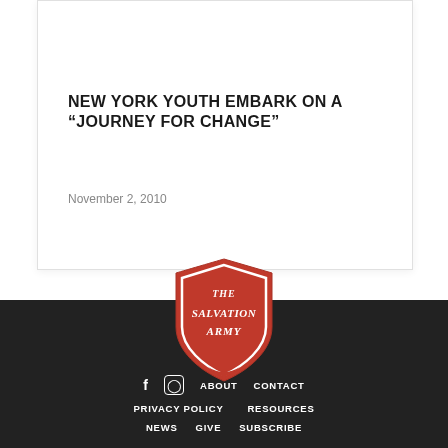[Figure (photo): Cropped top portion of a group photo showing people outdoors on sandy/dirt ground]
NEW YORK YOUTH EMBARK ON A “JOURNEY FOR CHANGE”
November 2, 2010
[Figure (logo): The Salvation Army shield logo in red with white text reading THE SALVATION ARMY]
f  ⓸  ABOUT  CONTACT  PRIVACY POLICY  RESOURCES